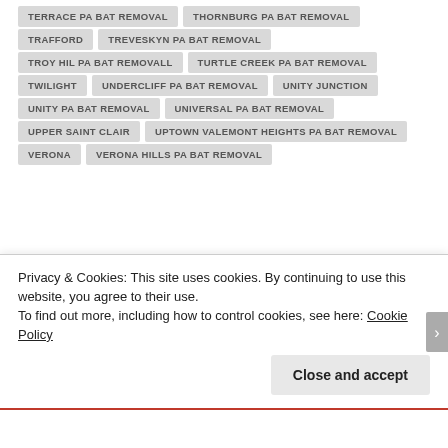TERRACE PA BAT REMOVAL
THORNBURG PA BAT REMOVAL
TRAFFORD
TREVESKYN PA BAT REMOVAL
TROY HIL PA BAT REMOVALL
TURTLE CREEK PA BAT REMOVAL
TWILIGHT
UNDERCLIFF PA BAT REMOVAL
UNITY JUNCTION
UNITY PA BAT REMOVAL
UNIVERSAL PA BAT REMOVAL
UPPER SAINT CLAIR
UPTOWN VALEMONT HEIGHTS PA BAT REMOVAL
VERONA
VERONA HILLS PA BAT REMOVAL
Privacy & Cookies: This site uses cookies. By continuing to use this website, you agree to their use.
To find out more, including how to control cookies, see here: Cookie Policy
Close and accept